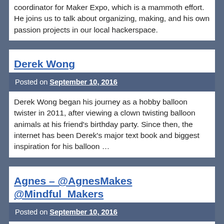coordinator for Maker Expo, which is a mammoth effort. He joins us to talk about organizing, making, and his own passion projects in our local hackerspace.
Derek Wong
Posted on September 10, 2016
Derek Wong began his journey as a hobby balloon twister in 2011, after viewing a clown twisting balloon animals at his friend's birthday party. Since then, the internet has been Derek's major text book and biggest inspiration for his balloon …
Agnes – @AgnesMakes @Mindful_Makers
Posted on September 10, 2016
Agnes is a long time maker, organizer for Maker Expo, and the head of Mindful Makers, an incredible series of making camps and much, much more.